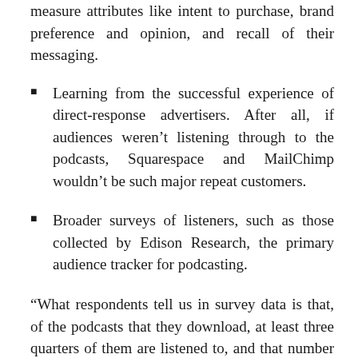measure attributes like intent to purchase, brand preference and opinion, and recall of their messaging.
Learning from the successful experience of direct-response advertisers. After all, if audiences weren't listening through to the podcasts, Squarespace and MailChimp wouldn't be such major repeat customers.
Broader surveys of listeners, such as those collected by Edison Research, the primary audience tracker for podcasting.
“What respondents tell us in survey data is that, of the podcasts that they download, at least three quarters of them are listened to, and that number can go well into the high 80s.”